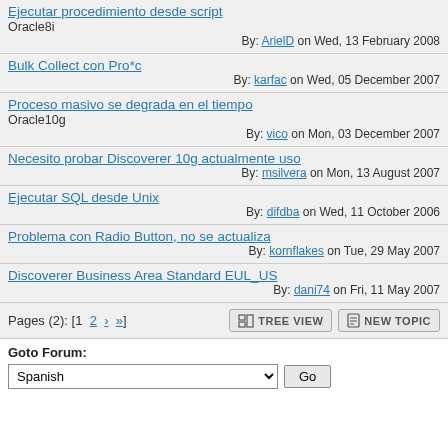Ejecutar procedimiento desde script — Oracle8i — By: ArielD on Wed, 13 February 2008
Bulk Collect con Pro*c — By: karfac on Wed, 05 December 2007
Proceso masivo se degrada en el tiempo — Oracle10g — By: vico on Mon, 03 December 2007
Necesito probar Discoverer 10g actualmente uso — By: msilvera on Mon, 13 August 2007
Ejecutar SQL desde Unix — By: difdba on Wed, 11 October 2006
Problema con Radio Button, no se actualiza — By: kornflakes on Tue, 29 May 2007
Discoverer Business Area Standard EUL_US — By: dani74 on Fri, 11 May 2007
Pages (2): [1 2 > »]
Goto Forum:
Spanish